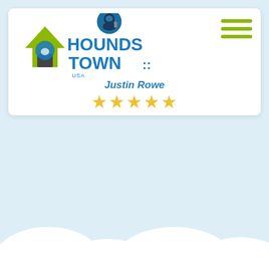[Figure (logo): Hounds Town USA logo with house and paw print icon, colorful text]
Justin Rowe
[Figure (infographic): Five gold stars rating]